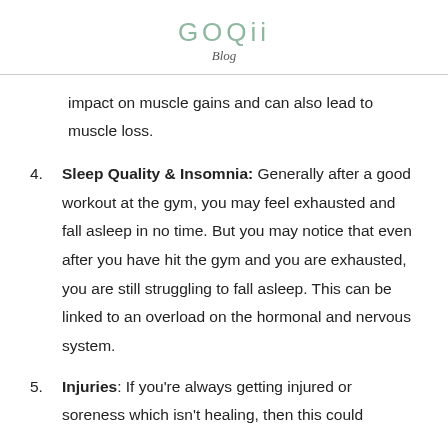GOQii
Blog
impact on muscle gains and can also lead to muscle loss.
4. Sleep Quality & Insomnia: Generally after a good workout at the gym, you may feel exhausted and fall asleep in no time. But you may notice that even after you have hit the gym and you are exhausted, you are still struggling to fall asleep. This can be linked to an overload on the hormonal and nervous system.
5. Injuries: If you're always getting injured or soreness which isn't healing, then this could